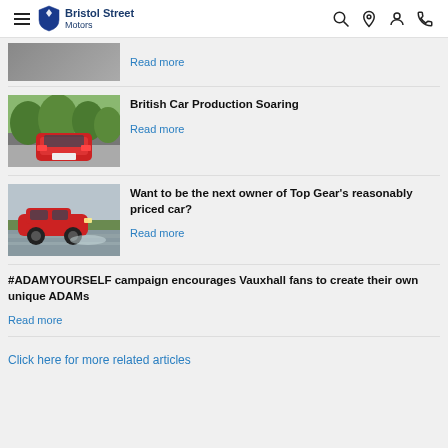Bristol Street Motors
Read more
British Car Production Soaring
Read more
Want to be the next owner of Top Gear's reasonably priced car?
Read more
#ADAMYOURSELF campaign encourages Vauxhall fans to create their own unique ADAMs
Read more
Click here for more related articles